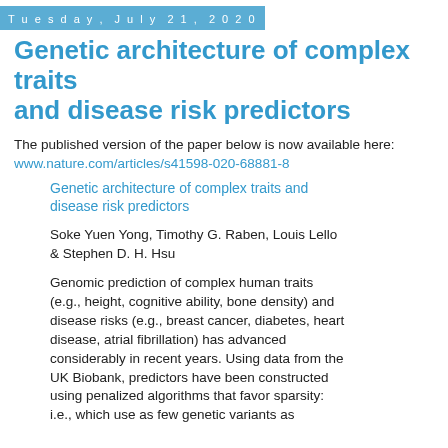Tuesday, July 21, 2020
Genetic architecture of complex traits and disease risk predictors
The published version of the paper below is now available here:
www.nature.com/articles/s41598-020-68881-8
Genetic architecture of complex traits and disease risk predictors
Soke Yuen Yong, Timothy G. Raben, Louis Lello & Stephen D. H. Hsu
Genomic prediction of complex human traits (e.g., height, cognitive ability, bone density) and disease risks (e.g., breast cancer, diabetes, heart disease, atrial fibrillation) has advanced considerably in recent years. Using data from the UK Biobank, predictors have been constructed using penalized algorithms that favor sparsity: i.e., which use as few genetic variants as